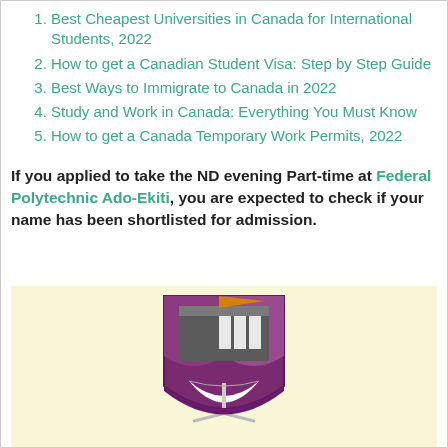Best Cheapest Universities in Canada for International Students, 2022
How to get a Canadian Student Visa: Step by Step Guide
Best Ways to Immigrate to Canada in 2022
Study and Work in Canada: Everything You Must Know
How to get a Canada Temporary Work Permits, 2022
If you applied to take the ND evening Part-time at Federal Polytechnic Ado-Ekiti, you are expected to check if your name has been shortlisted for admission.
[Figure (logo): Federal Polytechnic Ado-Ekiti coat of arms / shield logo with purple and grey colors, book and building imagery, on a light yellow background]